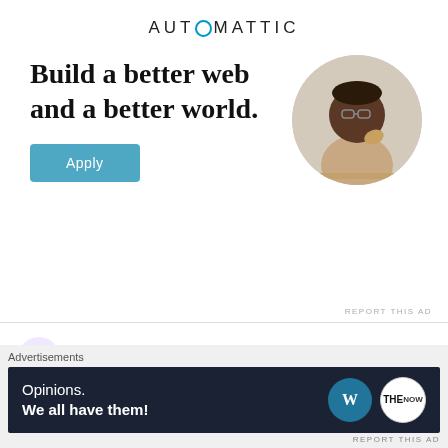[Figure (infographic): Automattic job advertisement banner with logo, headline 'Build a better web and a better world.', Apply button, and circular photo of a man thinking at a desk]
Alex on June 10, 2020 at 1:07 AM
Happy Birthday 🙂
★ Liked by 2 people
[Figure (infographic): Bottom advertisement banner: 'Opinions. We all have them!' with WordPress and TheNow logos on dark background]
Advertisements